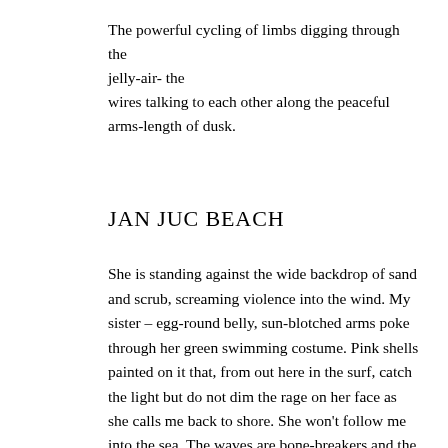The powerful cycling of limbs digging through the jelly-air- the
wires talking to each other along the peaceful arms-length of dusk.
JAN JUC BEACH
She is standing against the wide backdrop of sand and scrub, screaming violence into the wind. My sister – egg-round belly, sun-blotched arms poke through her green swimming costume. Pink shells painted on it that, from out here in the surf, catch the light but do not dim the rage on her face as she calls me back to shore. She won't follow me into the sea. The waves are bone-breakers and the salt in the water slaps your eyes raw. A sandcastle falls over near her feet, blue plastic bucket and yellow